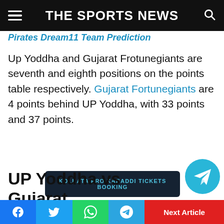THE SPORTS NEWS
Pirates Dream11 Team Prediction
Up Yoddha and Gujarat Frotunegiants are seventh and eighth positions on the points table respectively. Gujarat Fortunegiants are 4 points behind UP Yoddha, with 33 points and 37 points.
[Figure (other): Dark navy button: KOLKATA PRO KABADDI TICKETS BOOKING]
UP Yoddha vs Gujarat Fortunegiants Probable Starting 7
[Figure (logo): Telegram circular icon button]
Social share buttons: Facebook, Twitter, WhatsApp, Telegram | Next Article